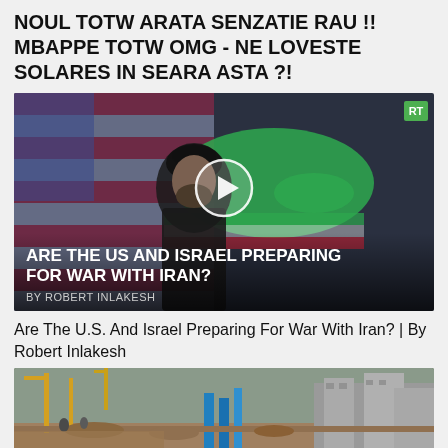NOUL TOTW ARATA SENZATIE RAU !! MBAPPE TOTW OMG - NE LOVESTE SOLARES IN SEARA ASTA ?!
[Figure (screenshot): Video thumbnail from RT showing a man wearing a black turban in front of an Iran map and US flag background, with a play button overlay. Text overlay reads: ARE THE US AND ISRAEL PREPARING FOR WAR WITH IRAN? BY ROBERT INLAKESH]
Are The U.S. And Israel Preparing For War With Iran? | By Robert Inlakesh
[Figure (photo): Construction or demolition site with cranes, rubble, blue equipment, and partially built structures in background]